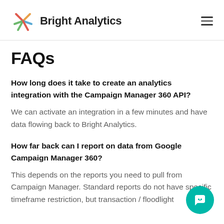Bright Analytics
FAQs
How long does it take to create an analytics integration with the Campaign Manager 360 API?
We can activate an integration in a few minutes and have data flowing back to Bright Analytics.
How far back can I report on data from Google Campaign Manager 360?
This depends on the reports you need to pull from Campaign Manager. Standard reports do not have specific timeframe restriction, but transaction / floodlight